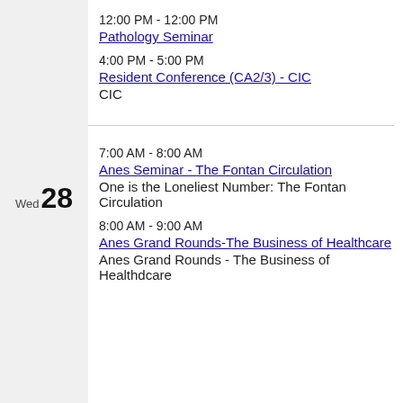12:00 PM - 12:00 PM
Pathology Seminar
4:00 PM - 5:00 PM
Resident Conference (CA2/3) - CIC
CIC
Wed 28
7:00 AM - 8:00 AM
Anes Seminar - The Fontan Circulation
One is the Loneliest Number: The Fontan Circulation
8:00 AM - 9:00 AM
Anes Grand Rounds-The Business of Healthcare
Anes Grand Rounds - The Business of Healthdcare